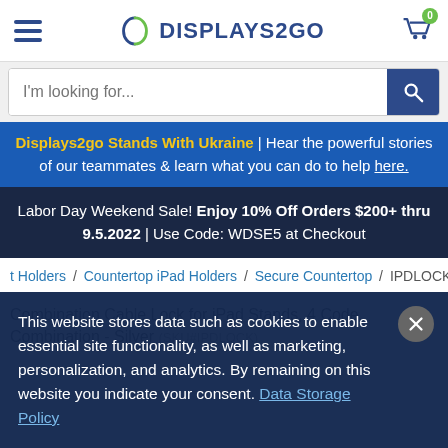DISPLAYS2GO — hamburger menu, logo, cart (0)
I'm looking for...
Displays2go Stands With Ukraine | Hear the powerful stories of our teammates & learn what you can do to help here.
Labor Day Weekend Sale! Enjoy 10% Off Orders $200+ thru 9.5.2022 | Use Code: WDSE5 at Checkout
t Holders / Countertop iPad Holders / Secure Countertop / IPDLOCK
Combination Cable Lock for iPad Stands, 4 Code Combination - Silver (SKU#IPDLOCK)
This website stores data such as cookies to enable essential site functionality, as well as marketing, personalization, and analytics. By remaining on this website you indicate your consent. Data Storage Policy